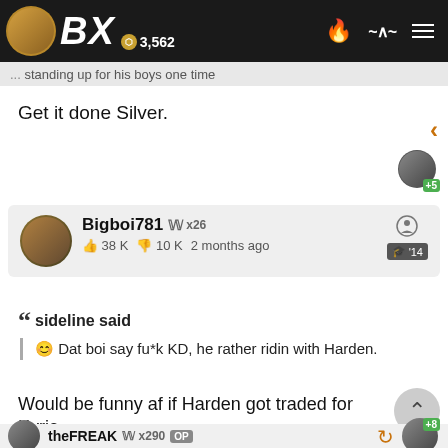BX 3,562
...standing up for his boys one time
Get it done Silver.
Bigboi781 x26 | 38K | 10K | 2 months ago | '14
sideline said
😊 Dat boi say fu*k KD, he rather ridin with Harden.
Would be funny af if Harden got traded for Kyrie
theFREAK x290 OP